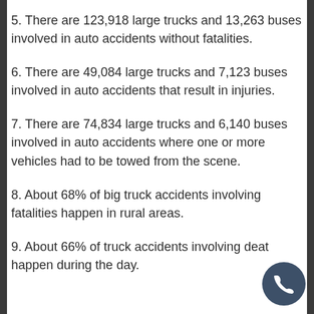5. There are 123,918 large trucks and 13,263 buses involved in auto accidents without fatalities.
6. There are 49,084 large trucks and 7,123 buses involved in auto accidents that result in injuries.
7. There are 74,834 large trucks and 6,140 buses involved in auto accidents where one or more vehicles had to be towed from the scene.
8. About 68% of big truck accidents involving fatalities happen in rural areas.
9. About 66% of truck accidents involving deaths happen during the day.